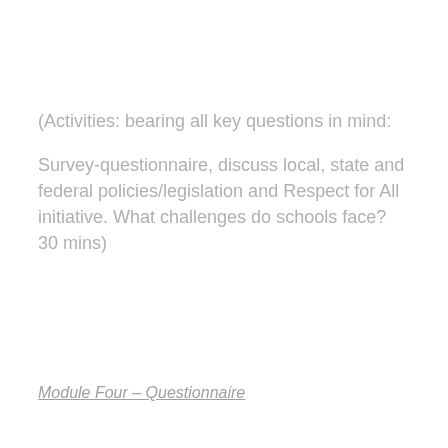(Activities: bearing all key questions in mind:

Survey-questionnaire, discuss local, state and federal policies/legislation and Respect for All initiative. What challenges do schools face? 30 mins)
Module Four – Questionnaire